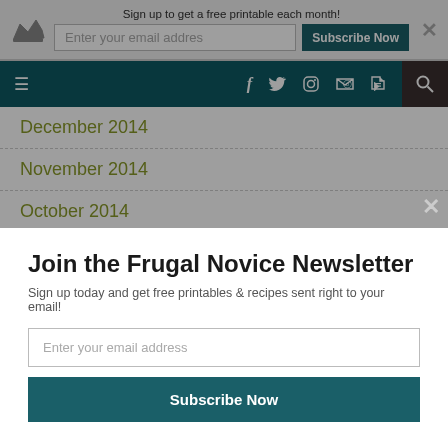[Figure (screenshot): Top banner with crown icon, email signup input, Subscribe Now button, and close X button. Text: Sign up to get a free printable each month!]
[Figure (screenshot): Navigation bar with hamburger menu, social icons (f, bird, camera, RSS), and search icon on dark teal background.]
December 2014
November 2014
October 2014
September 2014
August 2014
Join the Frugal Novice Newsletter
Sign up today and get free printables & recipes sent right to your email!
[Figure (screenshot): Modal newsletter signup with email input field and Subscribe Now button on white background with dark overlay.]